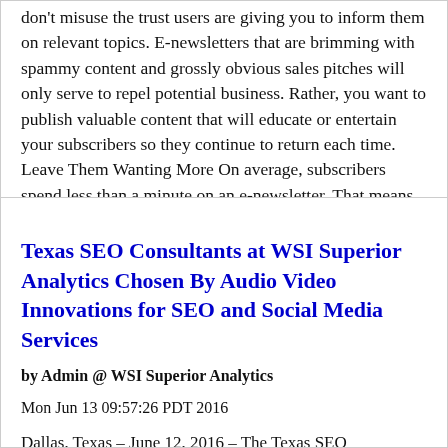don't misuse the trust users are giving you to inform them on relevant topics. E-newsletters that are brimming with spammy content and grossly obvious sales pitches will only serve to repel potential business. Rather, you want to publish valuable content that will educate or entertain your subscribers so they continue to return each time. Leave Them Wanting More On average, subscribers spend less than a minute on an e-newsletter. That means users are actually
Texas SEO Consultants at WSI Superior Analytics Chosen By Audio Video Innovations for SEO and Social Media Services
by Admin @ WSI Superior Analytics
Mon Jun 13 09:57:26 PDT 2016
Dallas, Texas – June 12, 2016 – The Texas SEO consultants at WSI Superior Analytics were recently chosen by Audio Video Innovations for their SEO and social media services. The project